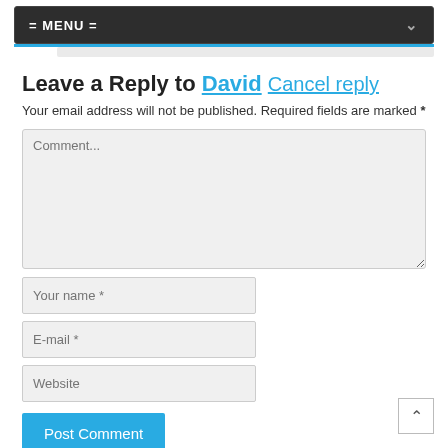= MENU =
Leave a Reply to David Cancel reply
Your email address will not be published. Required fields are marked *
[Figure (screenshot): Comment text area input field with placeholder text 'Comment...']
[Figure (screenshot): Text input field with placeholder 'Your name *']
[Figure (screenshot): Text input field with placeholder 'E-mail *']
[Figure (screenshot): Text input field with placeholder 'Website']
[Figure (screenshot): Blue 'Post Comment' button]
[Figure (screenshot): Back to top arrow button in bottom right corner]